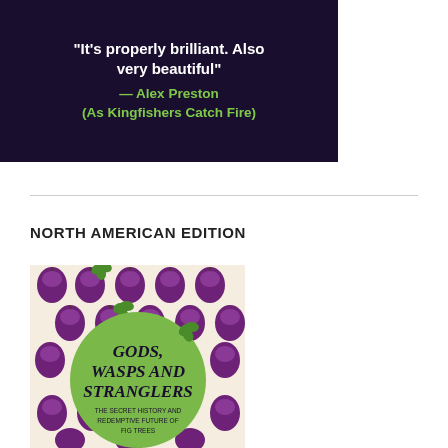[Figure (illustration): Dark navy/purple background quote block showing text: 'It's properly brilliant. Also very beautiful' — Alex Preston (As Kingfishers Catch Fire)]
NORTH AMERICAN EDITION
[Figure (photo): Book cover of 'Gods, Wasps and Stranglers: The Secret History and Redemptive Future of Fig Trees' — cream background with pattern of purple figs and green leaves, large green circle with book title in center]